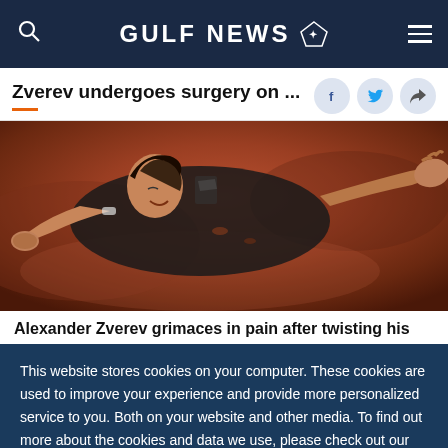GULF NEWS
Zverev undergoes surgery on ...
[Figure (photo): Alexander Zverev grimacing in pain lying on a clay tennis court after injuring his ankle]
Alexander Zverev grimaces in pain after twisting his
This website stores cookies on your computer. These cookies are used to improve your experience and provide more personalized service to you. Both on your website and other media. To find out more about the cookies and data we use, please check out our Privacy Policy.